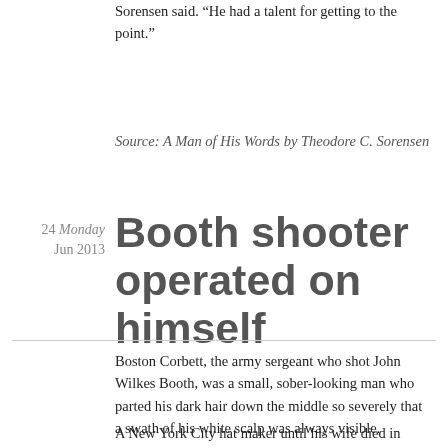Sorensen said. “He had a talent for getting to the point.”
Source: A Man of His Words by Theodore C. Sorensen
24 Monday Jun 2013
Booth shooter operated on himself
Boston Corbett, the army sergeant who shot John Wilkes Booth, was a small, sober-looking man who parted his dark hair down the middle so severely that a swath of his white scalp was always visible.
A New York City hat maker until his wife died in